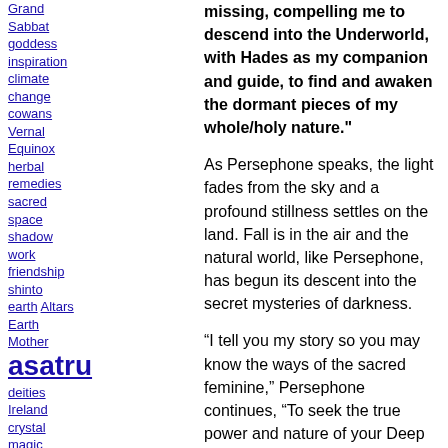Grand Sabbat goddess inspiration climate change cowans Vernal Equinox herbal remedies sacred space shadow work friendship shinto earth Altars Earth Mother asatru deities Ireland crystal magic interfaith empowerment nature Earth Day leadership arts & crafts Hope Priest metaphysical crystal descriptions deity
missing, compelling me to descend into the Underworld, with Hades as my companion and guide, to find and awaken the dormant pieces of my whole/holy nature."
As Persephone speaks, the light fades from the sky and a profound stillness settles on the land. Fall is in the air and the natural world, like Persephone, has begun its descent into the secret mysteries of darkness.
“I tell you my story so you may know the ways of the sacred feminine,” Persephone continues, “To seek the true power and nature of your Deep Self, you must step past the border of your known world into the depth of the Underworld that resides in the inner folds of your psyche and in the mysteries that underlie waking reality.
“When you brave the Underworld and travel its ways, you reclaim what has been lost, the